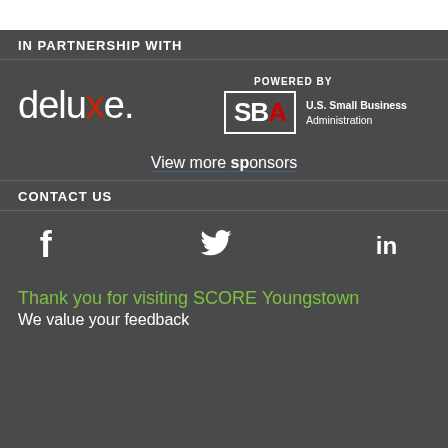IN PARTNERSHIP WITH
[Figure (logo): Deluxe logo (white text with red x) and SBA U.S. Small Business Administration logo with 'POWERED BY' label]
View more sponsors
CONTACT US
[Figure (infographic): Social media icons: Facebook (f), Twitter (bird), LinkedIn (in)]
Thank you for visiting SCORE Youngstown
We value your feedback